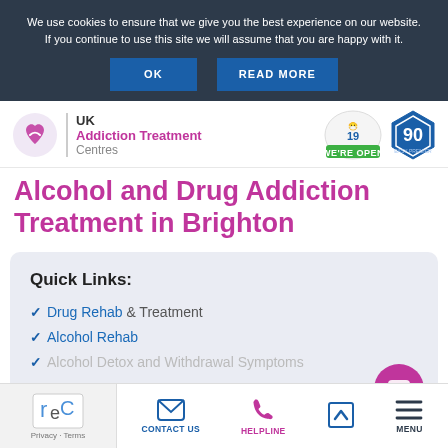We use cookies to ensure that we give you the best experience on our website. If you continue to use this site we will assume that you are happy with it.
OK | READ MORE
[Figure (logo): UK Addiction Treatment Centres logo with pink circular icon]
[Figure (logo): COVID-19 We're Open badge and 90 Easy Premier hexagon badge]
Alcohol and Drug Addiction Treatment in Brighton
Quick Links:
Drug Rehab & Treatment
Alcohol Rehab
Privacy · Terms | CONTACT US | HELPLINE | MENU